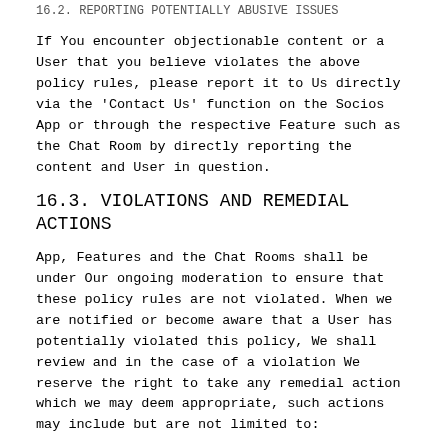16.2. REPORTING POTENTIALLY ABUSIVE...
If You encounter objectionable content or a User that you believe violates the above policy rules, please report it to Us directly via the ‘Contact Us’ function on the Socios App or through the respective Feature such as the Chat Room by directly reporting the content and User in question.
16.3. VIOLATIONS AND REMEDIAL ACTIONS
App, Features and the Chat Rooms shall be under Our ongoing moderation to ensure that these policy rules are not violated. When we are notified or become aware that a User has potentially violated this policy, We shall review and in the case of a violation We reserve the right to take any remedial action which we may deem appropriate, such actions may include but are not limited to: